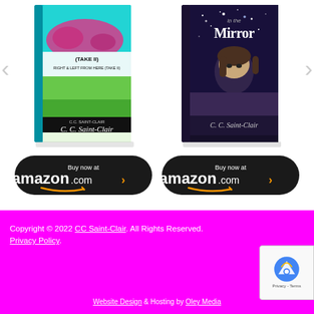[Figure (illustration): Book cover of 'Right & Left From Here (Take II)' by C.C. Saint-Clair, with a teal/blue background showing a world map]
[Figure (illustration): Book cover of 'in the Mirror' by C. C. Saint-Clair, dark purple/blue with an anime-style figure]
[Figure (infographic): Black rounded 'Buy now at amazon.com' button with orange arrow and Amazon smile logo]
[Figure (infographic): Black rounded 'Buy now at amazon.com' button with orange arrow and Amazon smile logo]
Copyright © 2022 CC Saint-Clair. All Rights Reserved. Privacy Policy.
Website Design & Hosting by Oley Media